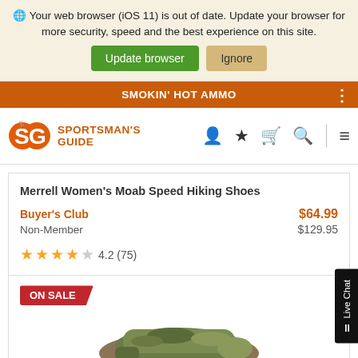Your web browser (iOS 11) is out of date. Update your browser for more security, speed and the best experience on this site. Update browser  Ignore
SMOKIN' HOT AMMO
SPORTSMAN'S GUIDE
Merrell Women's Moab Speed Hiking Shoes
Buyer's Club  $64.99
Non-Member  $129.95
★★★★☆ 4.2 (75)
ON SALE